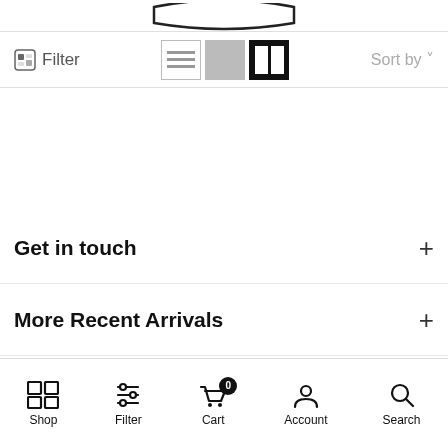[Figure (screenshot): Top curved shape / pill element partially visible at top of screen]
Filter
[Figure (other): View mode icons: list, grid, two-column (active/selected)]
Sort by
Get in touch
More Recent Arrivals
Genres
Shop  Filter  Cart  Account  Search